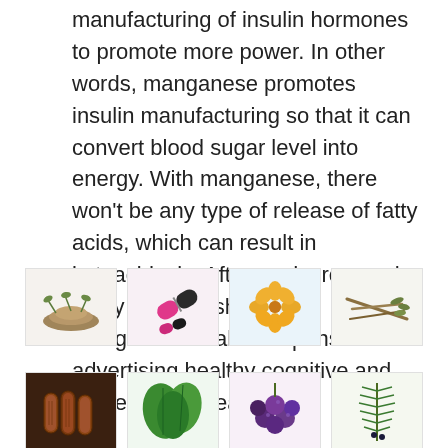manufacturing of insulin hormones to promote more power. In other words, manganese promotes insulin manufacturing so that it can convert blood sugar level into energy. With manganese, there won't be any type of release of fatty acids, which can result in ketoacidosis. Afterwards, research study likewise shows that manganese is also responsible for advertising healthy cognitive and nerve system feature.
[Figure (photo): Four herb/supplement images in a row: ground herb powder, pink and black capsule pills, orange flower/petals, dried herb roots]
[Figure (photo): Four herb/supplement images in a second row: cinnamon sticks, green herb leaves, purple berries, rosemary/herb sprig]